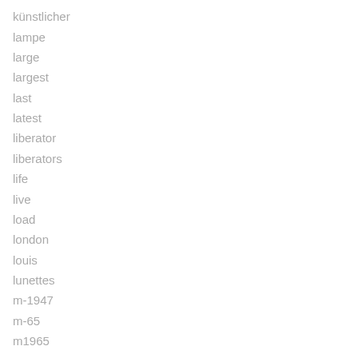künstlicher
lampe
large
largest
last
latest
liberator
liberators
life
live
load
london
louis
lunettes
m-1947
m-65
m1965
m4a2